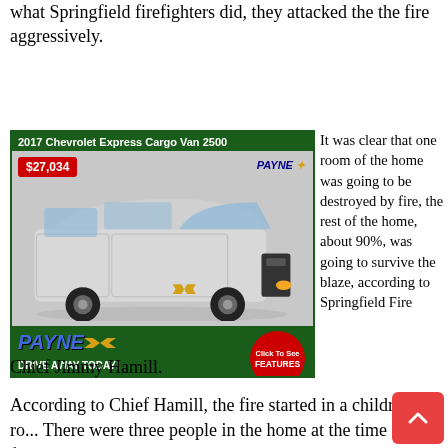what Springfield firefighters did, they attacked the the fire aggressively.
[Figure (photo): Advertisement for 2017 Chevrolet Express Cargo Van 2500 priced at $27,034 from Payne Chevrolet dealership. Shows a silver cargo van with text 'DRIVE AWAY TODAY!' and a red circle button saying 'Click To See FEATURES'.]
It was clear that one room of the home was going to be destroyed by fire, the rest of the home, about 90%, was going to survive the blaze, according to Springfield Fire Chief Jimmy Hamill.
According to Chief Hamill, the fire started in a children's ro... There were three people in the home at the time of the fire,